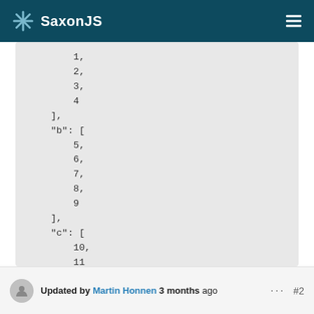SaxonJS
1,
    2,
    3,
    4
],
"b": [
    5,
    6,
    7,
    8,
    9
],
"c": [
    10,
    11
]
}
Updated by Martin Honnen 3 months ago  ... #2